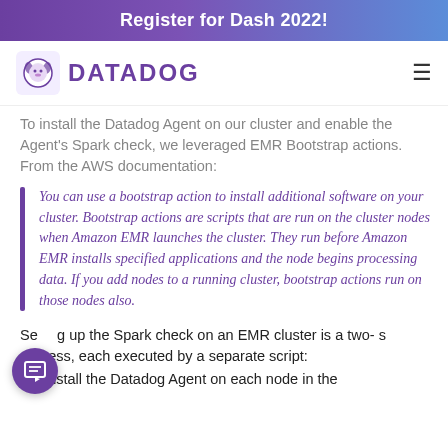Register for Dash 2022!
[Figure (logo): Datadog logo with dog icon and DATADOG text in purple]
To install the Datadog Agent on our cluster and enable the Agent's Spark check, we leveraged EMR Bootstrap actions. From the AWS documentation:
You can use a bootstrap action to install additional software on your cluster. Bootstrap actions are scripts that are run on the cluster nodes when Amazon EMR launches the cluster. They run before Amazon EMR installs specified applications and the node begins processing data. If you add nodes to a running cluster, bootstrap actions run on those nodes also.
Setting up the Spark check on an EMR cluster is a two-step process, each executed by a separate script:
1. Install the Datadog Agent on each node in the